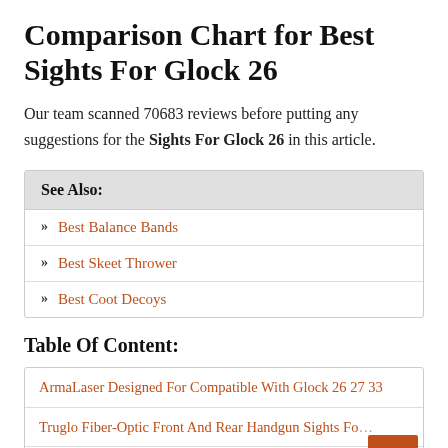Comparison Chart for Best Sights For Glock 26
Our team scanned 70683 reviews before putting any suggestions for the Sights For Glock 26 in this article.
| See Also: |
| --- |
| Best Balance Bands |
| Best Skeet Thrower |
| Best Coot Decoys |
Table Of Content:
| ArmaLaser Designed For Compatible With Glock 26 27 33 |
| Truglo Fiber-Optic Front And Rear Handgun Sights Fo... |
| XS SIGHTS Minimalist Tritium Night Sights, Fits Glock |